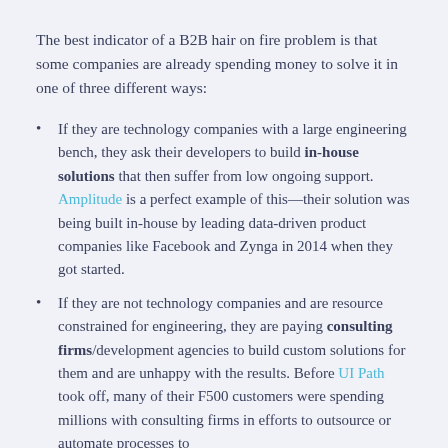The best indicator of a B2B hair on fire problem is that some companies are already spending money to solve it in one of three different ways:
If they are technology companies with a large engineering bench, they ask their developers to build in-house solutions that then suffer from low ongoing support. Amplitude is a perfect example of this—their solution was being built in-house by leading data-driven product companies like Facebook and Zynga in 2014 when they got started.
If they are not technology companies and are resource constrained for engineering, they are paying consulting firms/development agencies to build custom solutions for them and are unhappy with the results. Before UI Path took off, many of their F500 customers were spending millions with consulting firms in efforts to outsource or automate processes to